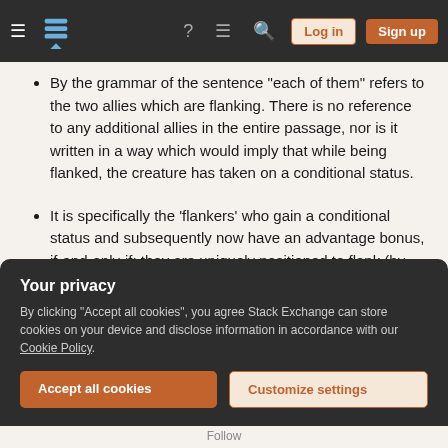Stack Exchange navigation bar with logo, icons, Log in and Sign up buttons
By the grammar of the sentence "each of them" refers to the two allies which are flanking. There is no reference to any additional allies in the entire passage, nor is it written in a way which would imply that while being flanked, the creature has taken on a conditional status.
It is specifically the 'flankers' who gain a conditional status and subsequently now have an advantage bonus, if-and-only-if: they are uniquely positioned to flank (by being on opposite sides)
Your privacy
By clicking "Accept all cookies", you agree Stack Exchange can store cookies on your device and disclose information in accordance with our Cookie Policy.
Accept all cookies  Customize settings
Follow